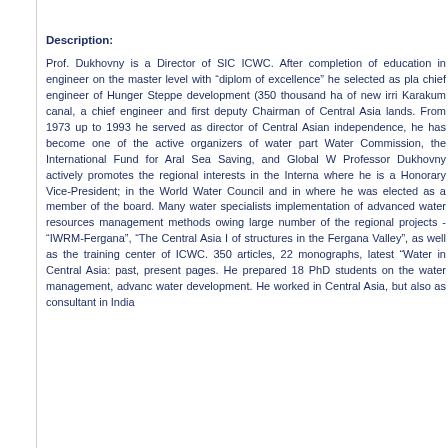Description:
Prof. Dukhovny is a Director of SIC ICWC. After completion of education in engineer on the master level with “diplom of excellence” he selected as pla chief engineer of Hunger Steppe development (350 thousand ha of new irr Karakum canal, a chief engineer and first deputy Chairman of Central Asi lands. From 1973 up to 1993 he served as director of Central Asian independence, he has become one of the active organizers of water part Water Commission, the International Fund for Aral Sea Saving, and Global W Professor Dukhovny actively promotes the regional interests in the Interna where he is a Honorary Vice-President; in the World Water Council and in where he was elected as a member of the board. Many water specialists implementation of advanced water resources management methods owing large number of the regional projects - “IWRM-Fergana”, “The Central Asia of structures in the Fergana Valley”, as well as the training center of ICWC. 350 articles, 22 monographs, latest “Water in Central Asia: past, present pages. He prepared 18 PhD students on the water management, advanc water development. He worked in Central Asia, but also as consultant in India